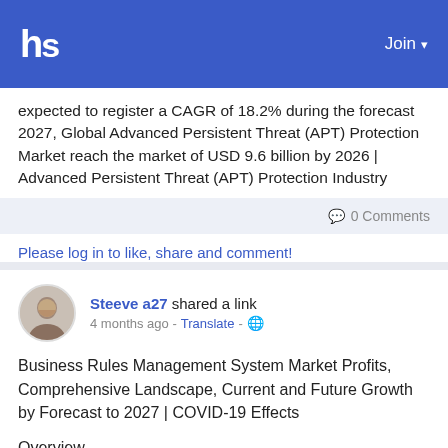hs  Join
expected to register a CAGR of 18.2% during the forecast 2027, Global Advanced Persistent Threat (APT) Protection Market reach the market of USD 9.6 billion by 2026 | Advanced Persistent Threat (APT) Protection Industry
0 Comments
Please log in to like, share and comment!
Steeve a27 shared a link
4 months ago - Translate - 🌐
Business Rules Management System Market Profits, Comprehensive Landscape, Current and Future Growth by Forecast to 2027 | COVID-19 Effects
Overview